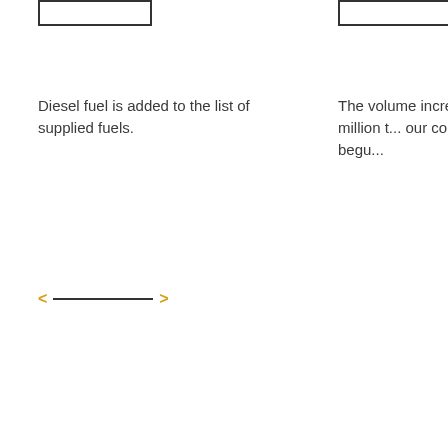Diesel fuel is added to the list of supplied fuels.
The volume increases to 1.4 million t... our compa... have begu...